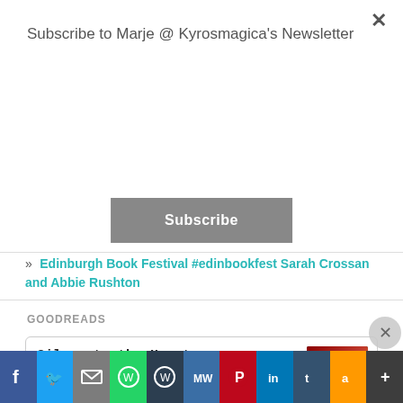Subscribe to Marje @ Kyrosmagica's Newsletter
Subscribe
Edinburgh Book Festival #edinbookfest Sarah Crossan and Abbie Rushton
GOODREADS
Silver to the Heart
by Brien Feathers
I really enjoyed Silver To The Heart. It is quite a conplicated story with many characters to get to grips with but it is worth the
Advertisements
[Figure (screenshot): Day One journaling app advertisement banner]
[Figure (infographic): Social media share buttons row: Facebook, Twitter, Email, WhatsApp, WordPress, MeWe, Pinterest, LinkedIn, Tumblr, Amazon, More]